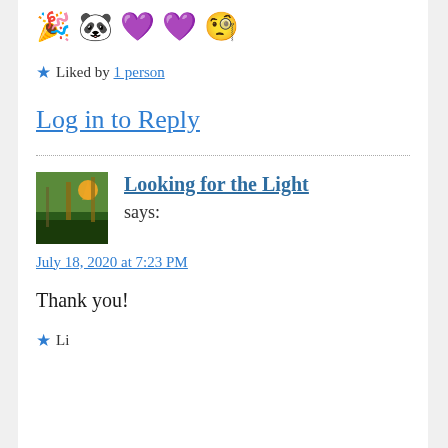🎉 🐼 💜 💜 🧐
★ Liked by 1 person
Log in to Reply
Looking for the Light says:
July 18, 2020 at 7:23 PM
Thank you!
★ Like